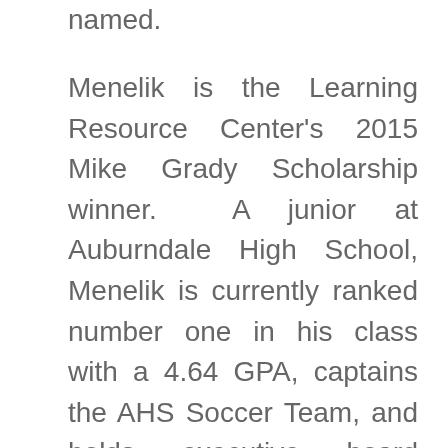named.
Menelik is the Learning Resource Center's 2015 Mike Grady Scholarship winner. A junior at Auburndale High School, Menelik is currently ranked number one in his class with a 4.64 GPA, captains the AHS Soccer Team, and holds executive board positions in the Interact and National Honor Society campus organizations. Sarah Cook, College & Career Advisor, affirms that “Menelik demonstrates integrity,